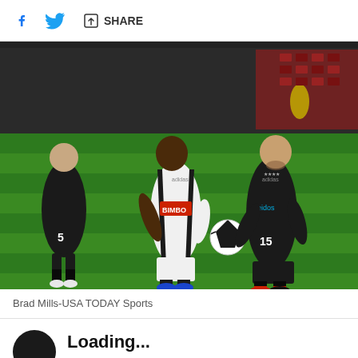SHARE
[Figure (photo): MLS soccer match action photo: Philadelphia Union player in white BIMBO jersey dribbling ball against DC United player #15 in black Leidos jersey. Another DC United player #5 visible in background. Match played on green grass field with crowd in stands. Night match under stadium lights.]
Brad Mills-USA TODAY Sports
Loading... (partial headline visible)